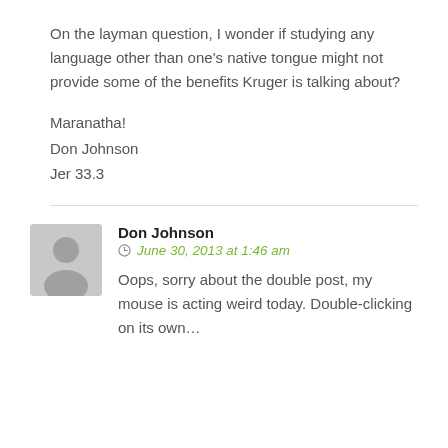On the layman question, I wonder if studying any language other than one's native tongue might not provide some of the benefits Kruger is talking about?

Maranatha!
Don Johnson
Jer 33.3
Don Johnson
June 30, 2013 at 1:46 am
Oops, sorry about the double post, my mouse is acting weird today. Double-clicking on its own…